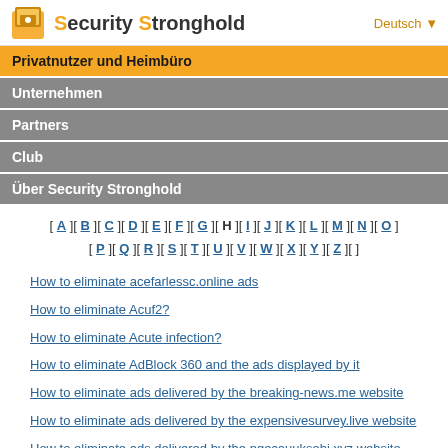Security Stronghold — Deutsch
Privatnutzer und Heimbüro
Unternehmen
Partners
Club
Über Security Stronghold
[ A ][ B ][ C ][ D ][ E ][ F ][ G ][ H ][ I ][ J ][ K ][ L ][ M ][ N ][ O ] [ P ][ Q ][ R ][ S ][ T ][ U ][ V ][ W ][ X ][ Y ][ Z ][ ]
How to eliminate acefarlessc.online ads
How to eliminate Acuf2?
How to eliminate Acute infection?
How to eliminate AdBlock 360 and the ads displayed by it
How to eliminate ads delivered by the breaking-news.me website
How to eliminate ads delivered by the expensivesurvey.live website
How to eliminate ads delivered by the ngecauuksehi.xyz website